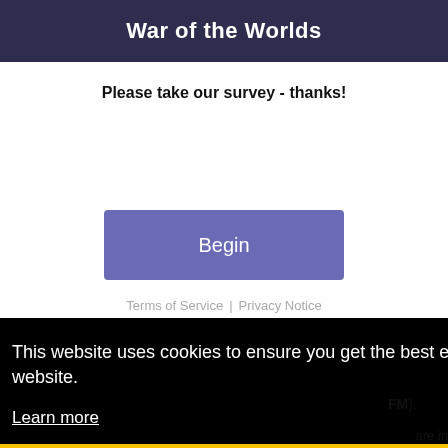War of the Worlds
Please take our survey - thanks!
Begin
Terms of Service  |  Privacy Notice
This website uses cookies to ensure you get the best experience on our website. Learn more
FM).
are in ovies!
Got it!